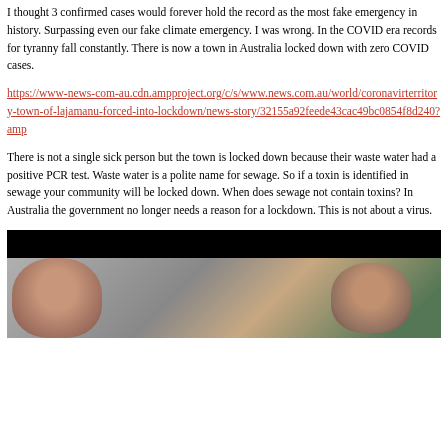I thought 3 confirmed cases would forever hold the record as the most fake emergency in history.  Surpassing even our fake climate emergency.  I was wrong.  In the COVID era records for tyranny fall constantly.  There is now a town in Australia locked down with zero COVID cases.
https://www-news-com-au.cdn.ampproject.org/c/s/www.news.com.au/world/coronavirterritory-town-of-lajamanu-forced-into-lockdown/news-story/32155a92feede43cac49bc0854f8d240?amp
There is not a single sick person but the town is locked down because their waste water had a positive PCR test.  Waste water is a polite name for sewage.  So if a toxin is identified in sewage your community will be locked down.  When does sewage not contain toxins?  In Australia the government no longer needs a reason for a lockdown.  This is not about a virus.
[Figure (photo): A photo with a black bar at the top and two people visible below, appearing to be in conversation. A person on the left appears to be a woman with short hair, and a person on the right appears to be a man, with green foliage visible in the background.]